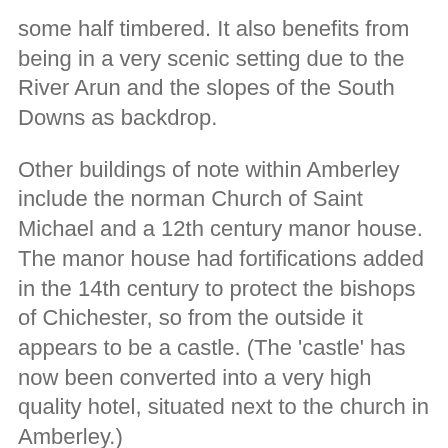some half timbered. It also benefits from being in a very scenic setting due to the River Arun and the slopes of the South Downs as backdrop.
Other buildings of note within Amberley include the norman Church of Saint Michael and a 12th century manor house. The manor house had fortifications added in the 14th century to protect the bishops of Chichester, so from the outside it appears to be a castle. (The 'castle' has now been converted into a very high quality hotel, situated next to the church in Amberley.)
Amberley Museum